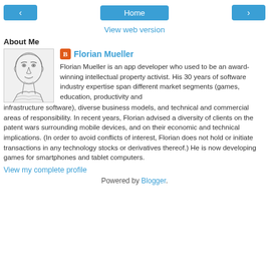< Home >
View web version
About Me
[Figure (photo): Sketch portrait of Florian Mueller]
Florian Mueller
Florian Mueller is an app developer who used to be an award-winning intellectual property activist. His 30 years of software industry expertise span different market segments (games, education, productivity and infrastructure software), diverse business models, and technical and commercial areas of responsibility. In recent years, Florian advised a diversity of clients on the patent wars surrounding mobile devices, and on their economic and technical implications. (In order to avoid conflicts of interest, Florian does not hold or initiate transactions in any technology stocks or derivatives thereof.) He is now developing games for smartphones and tablet computers.
View my complete profile
Powered by Blogger.